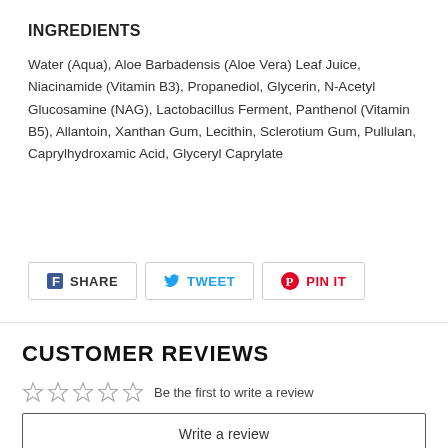INGREDIENTS
Water (Aqua), Aloe Barbadensis (Aloe Vera) Leaf Juice, Niacinamide (Vitamin B3), Propanediol, Glycerin, N-Acetyl Glucosamine (NAG), Lactobacillus Ferment, Panthenol (Vitamin B5), Allantoin, Xanthan Gum, Lecithin, Sclerotium Gum, Pullulan, Caprylhydroxamic Acid, Glyceryl Caprylate
SHARE  TWEET  PIN IT
CUSTOMER REVIEWS
Be the first to write a review
Write a review